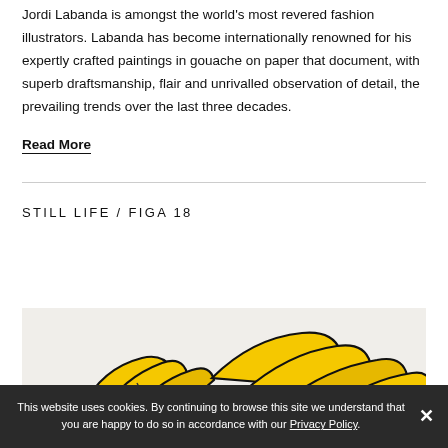Jordi Labanda is amongst the world's most revered fashion illustrators. Labanda has become internationally renowned for his expertly crafted paintings in gouache on paper that document, with superb draftsmanship, flair and unrivalled observation of detail, the prevailing trends over the last three decades.
Read More
STILL LIFE / FIGA 18
[Figure (illustration): Partial view of a still life illustration showing yellow flower petals rendered in gouache on a light beige/cream background, with bold black outlines.]
This website uses cookies. By continuing to browse this site we understand that you are happy to do so in accordance with our Privacy Policy.